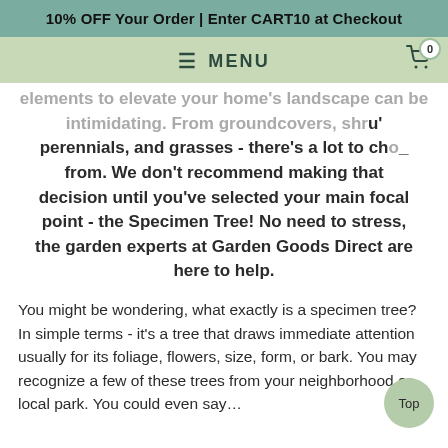10% OFF Your Order | Enter CART10 at Checkout
≡ MENU
elements to elevate your home's landscape can be intimidating. From groundcovers, shrubs, perennials, and grasses - there's a lot to choose from. We don't recommend making that decision until you've selected your main focal point - the Specimen Tree! No need to stress, the garden experts at Garden Goods Direct are here to help.
You might be wondering, what exactly is a specimen tree? In simple terms - it's a tree that draws immediate attention usually for its foliage, flowers, size, form, or bark. You may recognize a few of these trees from your neighborhood or local park. You could even say…